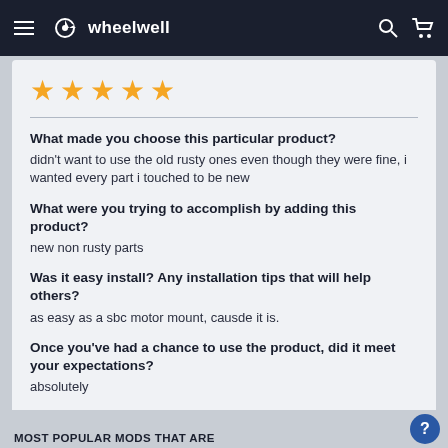wheelwell
[Figure (other): Five gold star rating]
What made you choose this particular product?
didn't want to use the old rusty ones even though they were fine, i wanted every part i touched to be new
What were you trying to accomplish by adding this product?
new non rusty parts
Was it easy install? Any installation tips that will help others?
as easy as a sbc motor mount, causde it is.
Once you've had a chance to use the product, did it meet your expectations?
absolutely
VIEW ON JACOB'S BUILD
MOST POPULAR MODS THAT ARE